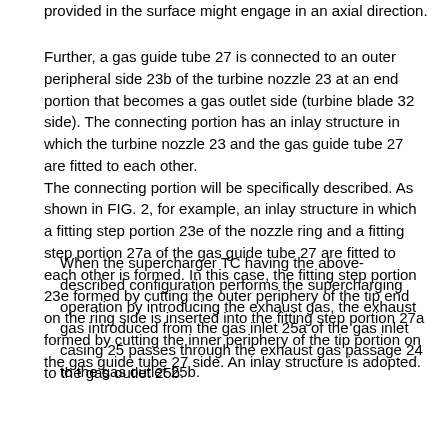provided in the surface might engage in an axial direction.
Further, a gas guide tube 27 is connected to an outer peripheral side 23b of the turbine nozzle 23 at an end portion that becomes a gas outlet side (turbine blade 32 side). The connecting portion has an inlay structure in which the turbine nozzle 23 and the gas guide tube 27 are fitted to each other.
The connecting portion will be specifically described. As shown in FIG. 2, for example, an inlay structure in which a fitting step portion 23e of the nozzle ring and a fitting step portion 27a of the gas guide tube 27 are fitted to each other is formed. In this case, the fitting step portion 23e formed by cutting the outer periphery of the tip end on the ring side is inserted into the fitting step portion 27a formed by cutting the inner periphery of the tip portion on the gas guide tube 27 side. An inlay structure is adopted.
When the supercharger TC having the above-described configuration performs the supercharging operation by introducing the exhaust gas, the exhaust gas introduced from the gas inlet 25a of the gas inlet casing 25 passes through the exhaust gas passage 24 to the gas outlet 25b.
The exhaust gas passage 24 to the gas outlet 25b.